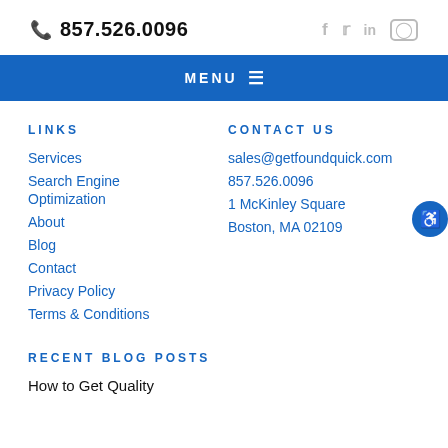857.526.0096  [social icons: Facebook, Twitter, LinkedIn, Instagram]
MENU
LINKS
Services
Search Engine
Optimization
About
Blog
Contact
Privacy Policy
Terms & Conditions
CONTACT US
sales@getfoundquick.com
857.526.0096
1 McKinley Square
Boston, MA 02109
RECENT BLOG POSTS
How to Get Quality